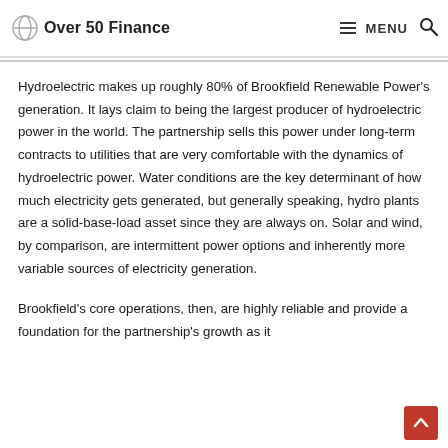Over 50 Finance  MENU
Hydroelectric makes up roughly 80% of Brookfield Renewable Power's generation. It lays claim to being the largest producer of hydroelectric power in the world. The partnership sells this power under long-term contracts to utilities that are very comfortable with the dynamics of hydroelectric power. Water conditions are the key determinant of how much electricity gets generated, but generally speaking, hydro plants are a solid-base-load asset since they are always on. Solar and wind, by comparison, are intermittent power options and inherently more variable sources of electricity generation.
Brookfield's core operations, then, are highly reliable and provide a foundation for the partnership's growth as it